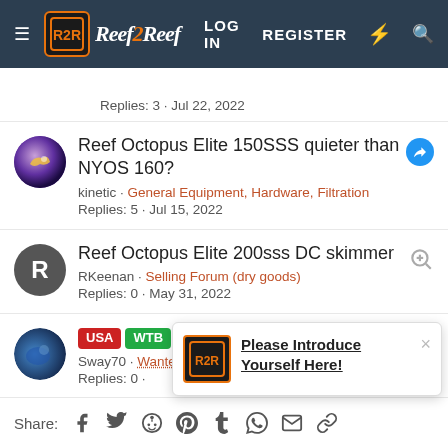≡ Reef2Reef  LOG IN  REGISTER
Replies: 3 · Jul 22, 2022
Reef Octopus Elite 150SSS quieter than NYOS 160?
kinetic · General Equipment, Hardware, Filtration
Replies: 5 · Jul 15, 2022
Reef Octopus Elite 200sss DC skimmer
RKeenan · Selling Forum (dry goods)
Replies: 0 · May 31, 2022
USA WTB Reef Octopus INT 250
Sway70 · Wanted To Buy (livestock and dry goods)
Replies: 0 ·
Please Introduce Yourself Here!
Share: f t reddit p t WhatsApp mail link